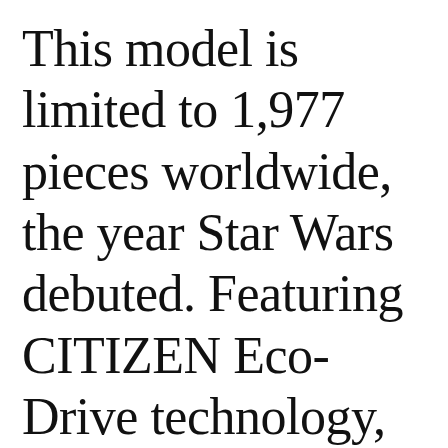This model is limited to 1,977 pieces worldwide, the year Star Wars debuted. Featuring CITIZEN Eco-Drive technology, it's powered by any light and never needs a